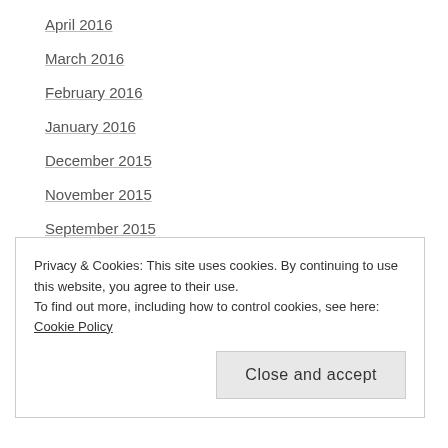April 2016
March 2016
February 2016
January 2016
December 2015
November 2015
September 2015
August 2015
July 2015
Privacy & Cookies: This site uses cookies. By continuing to use this website, you agree to their use.
To find out more, including how to control cookies, see here: Cookie Policy
Close and accept